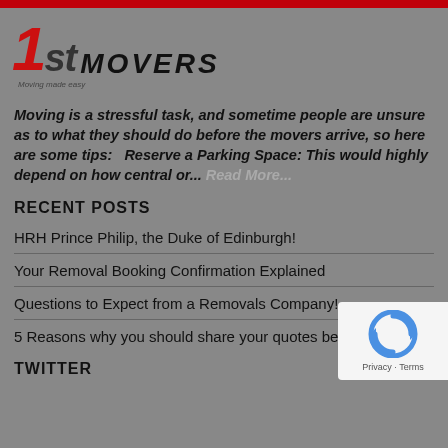[Figure (logo): 1st Movers logo with red '1', dark italic 'st' and 'MOVERS' text]
Moving is a stressful task, and sometime people are unsure as to what they should do before the movers arrive, so here are some tips:   Reserve a Parking Space: This would highly depend on how central or... Read More...
RECENT POSTS
HRH Prince Philip, the Duke of Edinburgh!
Your Removal Booking Confirmation Explained
Questions to Expect from a Removals Company!
5 Reasons why you should share your quotes before booking
TWITTER
[Figure (logo): reCAPTCHA badge with Privacy and Terms links]